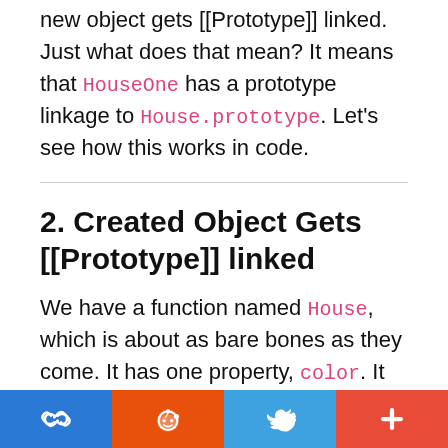new object gets [[Prototype]] linked. Just what does that mean? It means that HouseOne has a prototype linkage to House.prototype. Let's see how this works in code.
2. Created Object Gets [[Prototype]] linked
We have a function named House, which is about as bare bones as they come. It has one property, color. It has no methods, no functionality, not much of anything. We are going to call a method
[Figure (other): Social sharing footer bar with four buttons: link (blue), Reddit (orange), Twitter (light blue), and plus/more (red-orange)]